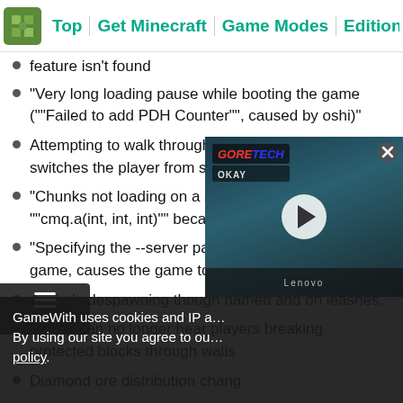Top | Get Minecraft | Game Modes | Editions | Difficult
feature isn't found
"Very long loading pause while booting the game (""Failed to add PDH Counter"", caused by oshi)"
Attempting to walk through flowing water constantly switches the player from swimming into normal mode
"Chunks not loading on a server / Cannot invoke ""cmq.a(int, int, int)"" because ""☞"" is null"
"Specifying the --server parameter when starting the game, causes the game to crash"
Axolotls despawning though named and on leashes.
Piglins can no longer hear players breaking protected blocks through walls
Diamond ore distribution chang…
[Figure (screenshot): Embedded video player overlay showing a gaming video with GoreTech branding and a play button, with a close button in top right corner]
GameWith uses cookies and IP a… By using our site you agree to ou… policy.